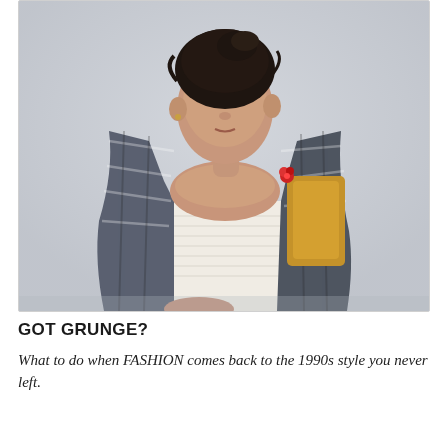[Figure (photo): A woman with dark hair pinned up, seated in a chair against a light gray wall. She is wearing a white smocked strapless dress with a blue and white plaid flannel shirt open over it, and has a small red flower pin on the shirt. A yellow/mustard colored bag or accessory is visible at her right side. She has a neutral, slightly serious expression and looks to her left.]
GOT GRUNGE?
What to do when FASHION comes back to the 1990s style you never left.